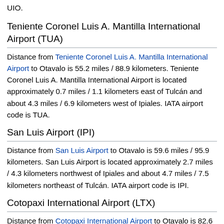UIO.
Teniente Coronel Luis A. Mantilla International Airport (TUA)
Distance from Teniente Coronel Luis A. Mantilla International Airport to Otavalo is 55.2 miles / 88.9 kilometers. Teniente Coronel Luis A. Mantilla International Airport is located approximately 0.7 miles / 1.1 kilometers east of Tulcán and about 4.3 miles / 6.9 kilometers west of Ipiales. IATA airport code is TUA.
San Luis Airport (IPI)
Distance from San Luis Airport to Otavalo is 59.6 miles / 95.9 kilometers. San Luis Airport is located approximately 2.7 miles / 4.3 kilometers northwest of Ipiales and about 4.7 miles / 7.5 kilometers northeast of Tulcán. IATA airport code is IPI.
Cotopaxi International Airport (LTX)
Distance from Cotopaxi International Airport to Otavalo is 82.6 miles / 133.0 kilometers. Cotopaxi International Airport is located approximately 2.0 miles / 3.2 kilometers north of Latacunga and about 6.6 miles / 10.6 kilometers northeast of Pujilí. IATA airport code is LTX.